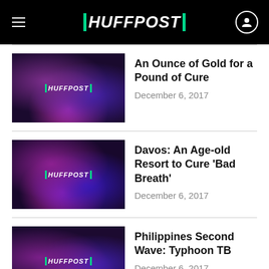HUFFPOST
[Figure (screenshot): HuffPost article thumbnail with purple/pink bokeh background and HUFFPOST logo]
An Ounce of Gold for a Pound of Cure
December 6, 2017
[Figure (screenshot): HuffPost article thumbnail with purple/pink bokeh background and HUFFPOST logo]
Davos: An Age-old Resort to Cure 'Bad Breath'
December 6, 2017
[Figure (screenshot): HuffPost article thumbnail with purple/pink bokeh background and HUFFPOST logo]
Philippines Second Wave: Typhoon TB
December 6, 2017
[Figure (screenshot): HuffPost article thumbnail with purple/pink bokeh background and HUFFPOST logo]
'Summertime Sadness': I've Got the Off to College Blues